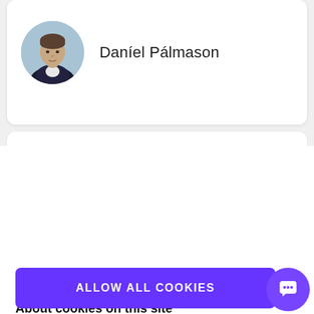[Figure (photo): Circular profile photo of a man in a dark blazer against a light blue background]
Daníel Pálmason
About cookies on this site
We use cookies to collect and analyse information on site performance and usage, to provide social media features and to enhance and customise content and advertisements. Learn more
Cookie settings
ALLOW ALL COOKIES